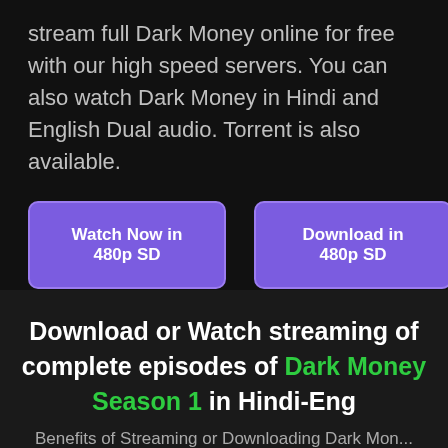stream full Dark Money online for free with our high speed servers. You can also watch Dark Money in Hindi and English Dual audio. Torrent is also available.
[Figure (other): Two purple buttons side by side: 'Watch Now in 480p SD' and 'Download in 480p SD']
Download or Watch streaming of complete episodes of Dark Money Season 1 in Hindi-Eng
Benefits of Streaming or Downloading Dark Mon...